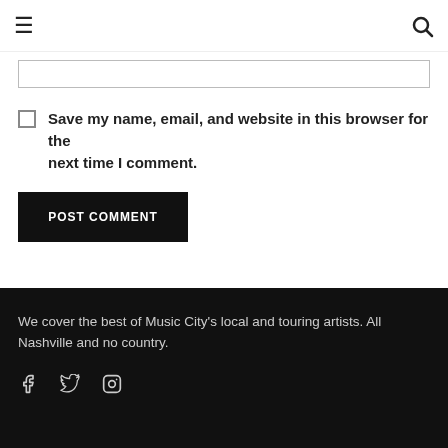☰ [hamburger menu] | 🔍 [search icon]
[Input box / text field]
Save my name, email, and website in this browser for the next time I comment.
POST COMMENT
We cover the best of Music City's local and touring artists. All Nashville and no country.
[Facebook icon] [Twitter icon] [Instagram icon]